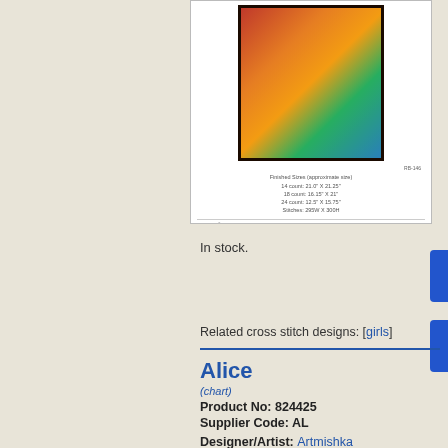[Figure (photo): Cross stitch product sheet showing a painting of Algerian women/girls in traditional dress, with finished size specifications and copyright information.]
In stock.
Related cross stitch designs: [girls]
Alice
(chart)
Product No: 824425
Supplier Code: AL
Designer/Artist: Artmishka